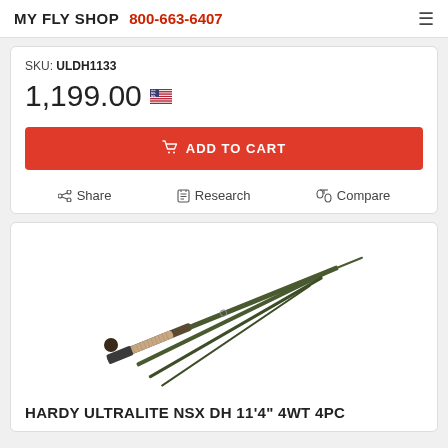MY FLY SHOP  800-663-6407
SKU: ULDH1133
1,199.00
ADD TO CART
Share   Research   Compare
[Figure (photo): Hardy Ultralite NSX DH fly fishing rod, shown disassembled in 4 pieces diagonally, with cork grip and dark olive/green blank]
HARDY ULTRALITE NSX DH 11'4" 4WT 4PC